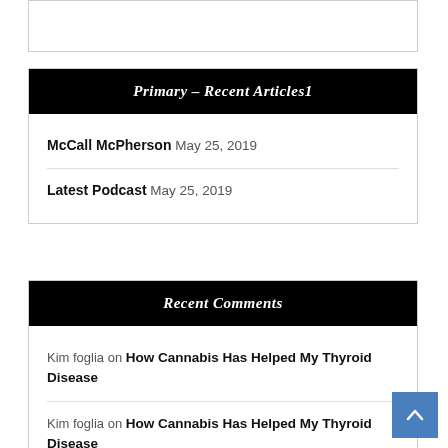Primary – Recent Articles1
McCall McPherson May 25, 2019
Latest Podcast May 25, 2019
Recent Comments
Kim foglia on How Cannabis Has Helped My Thyroid Disease
Kim foglia on How Cannabis Has Helped My Thyroid Disease
Kristy on Is Thyroid Disease Linked To Anxiety Or Are